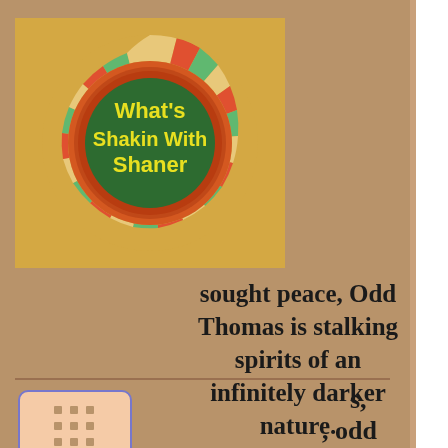[Figure (logo): Podcast logo for 'What's Shakin With Shaner' — a retro game-show style circular badge with green center circle containing yellow bold text, surrounded by orange and red concentric rings, with a colorful striped outer ring (green, orange, cream segments) on a golden/tan square background.]
s, , odd n the ng an was my the ited d
[Figure (other): A grid/apps icon button — a peach/salmon colored rounded rectangle with a 3x3 grid of dots, outlined in blue/purple, resembling an app launcher button.]
sought peace, Odd Thomas is stalking spirits of an infinitely darker nature.